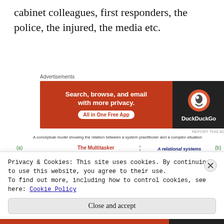cabinet colleagues, first responders, the police, the injured, the media etc.
[Figure (infographic): DuckDuckGo advertisement banner: 'Search, browse, and email with more privacy. All in One Free App' with DuckDuckGo logo on dark background]
[Figure (flowchart): A conceptual model showing the relation between a system practitioner and a complex situation. Left side (a): The Multitasker — boxes labeled Being and Managing connect to System thinker, with a large red down arrow. Right side (b): A relational systems practice model — circular diagram with Framework, Situation of interest, System thinker, with label 'Devastation caused by Hurricane Maria'. Intervention arrow in center.]
A conceptual model showing the relation between a system practitioner and a complex situation
Privacy & Cookies: This site uses cookies. By continuing to use this website, you agree to their use.
To find out more, including how to control cookies, see here: Cookie Policy
Close and accept